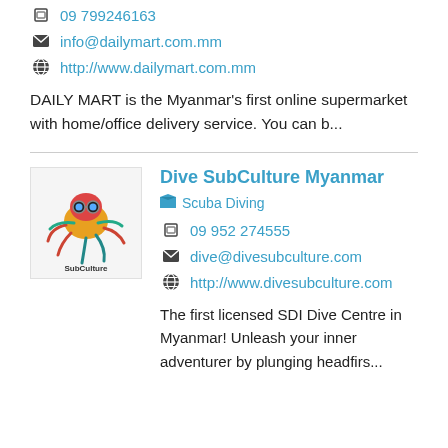09 799246163
info@dailymart.com.mm
http://www.dailymart.com.mm
DAILY MART is the Myanmar's first online supermarket with home/office delivery service. You can b...
[Figure (logo): Dive SubCulture Myanmar logo featuring a colorful octopus/creature illustration with the text 'SubCulture']
Dive SubCulture Myanmar
Scuba Diving
09 952 274555
dive@divesubculture.com
http://www.divesubculture.com
The first licensed SDI Dive Centre in Myanmar! Unleash your inner adventurer by plunging headfirs...